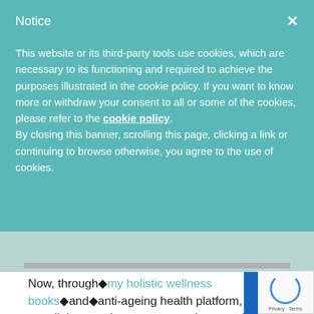Notice
This website or its third-party tools use cookies, which are necessary to its functioning and required to achieve the purposes illustrated in the cookie policy. If you want to know more or withdraw your consent to all or some of the cookies, please refer to the cookie policy.
By closing this banner, scrolling this page, clicking a link or continuing to browse otherwise, you agree to the use of cookies.
Now, through�my holistic wellness books�and�anti-ageing health platform, I w... to enlighten and empower people around the